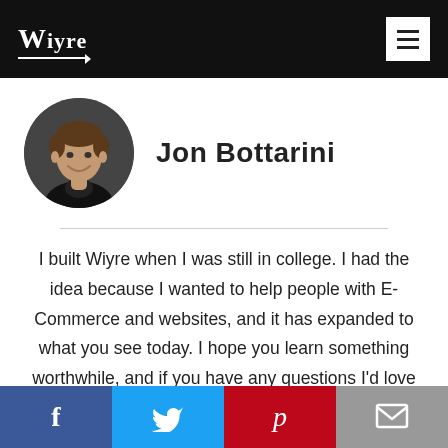Wiyre
[Figure (photo): Circular profile photo of Jon Bottarini, a young man smiling, with dark background]
Jon Bottarini
I built Wiyre when I was still in college. I had the idea because I wanted to help people with E-Commerce and websites, and it has expanded to what you see today. I hope you learn something worthwhile, and if you have any questions I'd love to hear from you. You can connect with me on LinkedIn (https://lnkd.in/wYPV8d). If you
[Figure (infographic): Social sharing bar with four buttons: Facebook (blue), Twitter (light blue), Pinterest (red), Email (gray)]